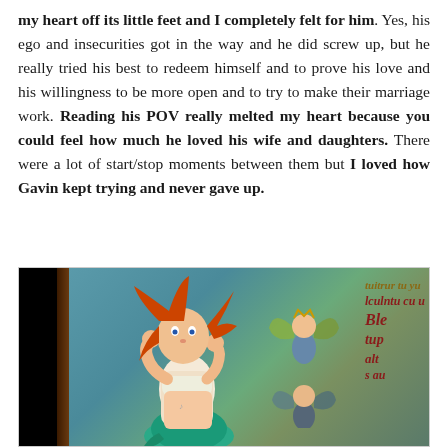my heart off its little feet and I completely felt for him. Yes, his ego and insecurities got in the way and he did screw up, but he really tried his best to redeem himself and to prove his love and his willingness to be more open and to try to make their marriage work. Reading his POV really melted my heart because you could feel how much he loved his wife and daughters. There were a lot of start/stop moments between them but I loved how Gavin kept trying and never gave up.
[Figure (photo): A still from an animated film showing a red-haired character (resembling Ariel from The Little Mermaid) with hands on face, surrounded by fairy-like figures with wings against a teal/blue background with partial text overlay on the right side.]